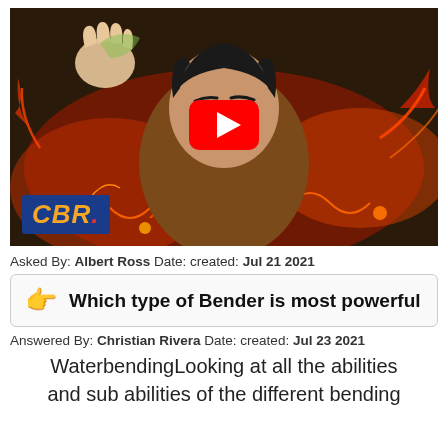[Figure (screenshot): Anime-style illustration of a male character bending with fire and lava effects, CBR logo in bottom-left, YouTube play button overlay in center.]
Asked By: Albert Ross Date: created: Jul 21 2021
Which type of Bender is most powerful
Answered By: Christian Rivera Date: created: Jul 23 2021
WaterbendingLooking at all the abilities and sub abilities of the different bending